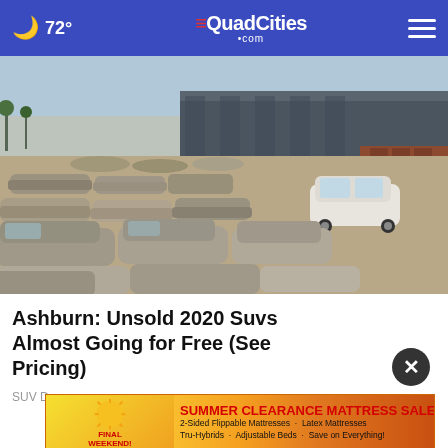🌙 72° | QuadCities.com
[Figure (photo): Aerial/wide view of a large dusty car lot filled with rows of unsold SUVs and sedans parked closely together, with a warehouse building in the background]
Ashburn: Unsold 2020 Suvs Almost Going for Free (See Pricing)
SUV D...
[Figure (infographic): Advertisement banner: Final Weekend! Summer Clearance Mattress Sale! 2-Sided Flippable Mattresses · Latex Mattresses · Tru-Hybrids · Adjustable Beds · Save on Everything! Open Labor Day 10am-4pm]